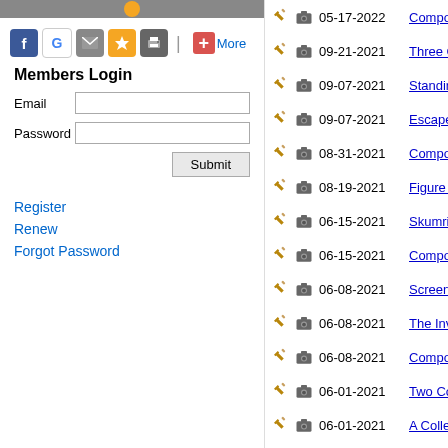[Figure (other): Top banner image with orange element, gray background]
Social share icons: Facebook, Google, Email, Star, Print | More
Members Login
Email [input field]
Password [input field]
Submit button
Register
Renew
Forgot Password
| [hammer icon] | [camera icon] | Date | Title |
| --- | --- | --- | --- |
|  |  | 05-17-2022 | Composition W... |
|  |  | 09-21-2021 | Three Compos... |
|  |  | 09-07-2021 | Standing Mode... |
|  |  | 09-07-2021 | Escape |
|  |  | 08-31-2021 | Composition W... |
|  |  | 08-19-2021 | Figure Compos... |
|  |  | 06-15-2021 | Skumring |
|  |  | 06-15-2021 | Composition |
|  |  | 06-08-2021 | Screenscape |
|  |  | 06-08-2021 | The Investigati... |
|  |  | 06-08-2021 | Composition |
|  |  | 06-01-2021 | Two Compositi... |
|  |  | 06-01-2021 | A Collection Of... |
|  |  | 05-25-2021 | Composition W... |
|  |  | 03-03-2015 | Screenscape |
|  |  | 12-08-2014 | Multiplikation |
|  |  | 12-02-2014 | Figure Compos... |
|  |  | 11-18-2014 | Still Life With M... |
|  |  | 04-28-2014 | Strange Love |
|  |  | 04-28-2014 | Interior With Pe... |